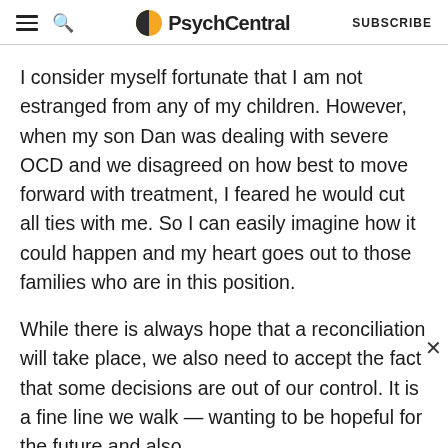PsychCentral — SUBSCRIBE
I consider myself fortunate that I am not estranged from any of my children. However, when my son Dan was dealing with severe OCD and we disagreed on how best to move forward with treatment, I feared he would cut all ties with me. So I can easily imagine how it could happen and my heart goes out to those families who are in this position.
While there is always hope that a reconciliation will take place, we also need to accept the fact that some decisions are out of our control. It is a fine line we walk — wanting to be hopeful for the future and also
ADVERTISEMENT
[Figure (screenshot): PsychCentral advertisement banner for 'Inside Mental Health Podcast' with a Learn More button on dark blue background]